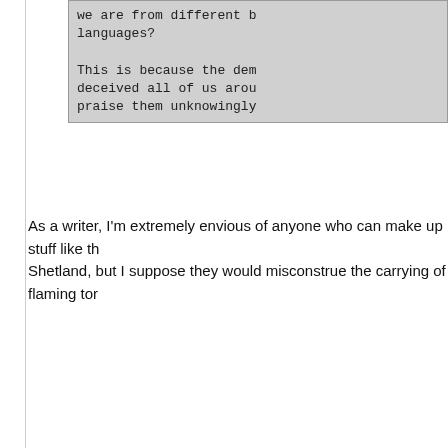we are from different languages?

This is because the dem deceived all of us arou praise them unknowingly
As a writer, I'm extremely envious of anyone who can make up stuff like th Shetland, but I suppose they would misconstrue the carrying of flaming tor